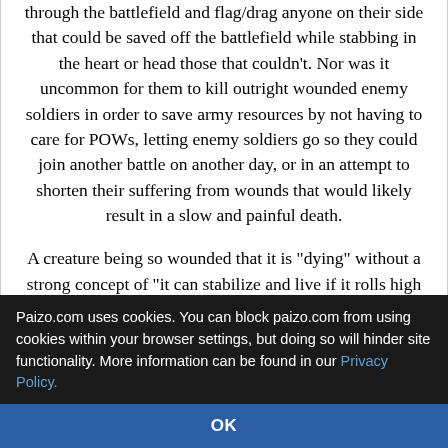through the battlefield and flag/drag anyone on their side that could be saved off the battlefield while stabbing in the heart or head those that couldn't. Nor was it uncommon for them to kill outright wounded enemy soldiers in order to save army resources by not having to care for POWs, letting enemy soldiers go so they could join another battle on another day, or in an attempt to shorten their suffering from wounds that would likely result in a slow and painful death.
A creature being so wounded that it is "dying" without a strong concept of "it can stabilize and live if it rolls high enough to do so and then heal naturally to regain consciousness eventually" is a level of knowledge that is both super meta and (even if
Paizo.com uses cookies. You can block paizo.com from using cookies within your browser settings, but doing so will hinder site functionality. More information can be found in our Privacy Policy.
OK